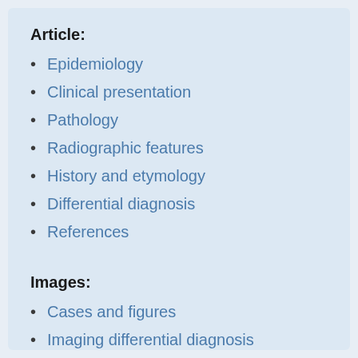Article:
Epidemiology
Clinical presentation
Pathology
Radiographic features
History and etymology
Differential diagnosis
References
Images:
Cases and figures
Imaging differential diagnosis